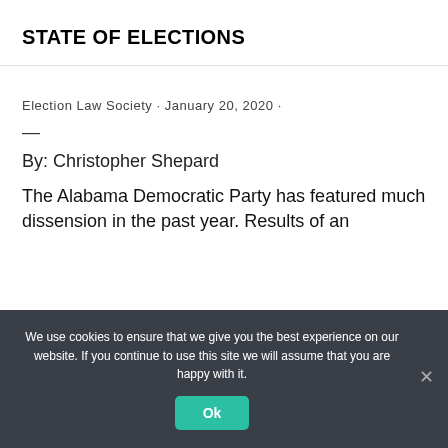STATE OF ELECTIONS
Election Law Society · January 20, 2020 ·
—
By: Christopher Shepard
The Alabama Democratic Party has featured much dissension in the past year. Results of an
We use cookies to ensure that we give you the best experience on our website. If you continue to use this site we will assume that you are happy with it.